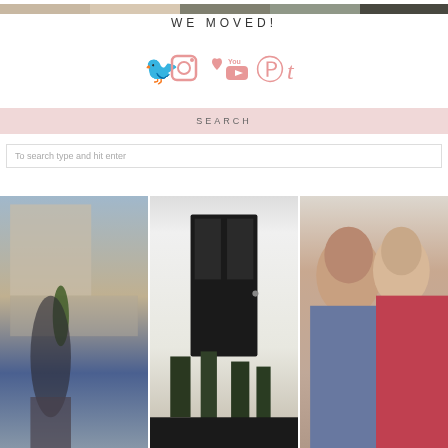[Figure (photo): Strip of small thumbnail photos at top of page]
WE MOVED!
[Figure (infographic): Row of pink social media icons: Twitter, Instagram, heart/Bloglovin, YouTube, Pinterest, Tumblr]
SEARCH
To search type and hit enter
[Figure (photo): Three photos in a row: outdoor winter scene with person in front of museum building, black door with plants, couple selfie]